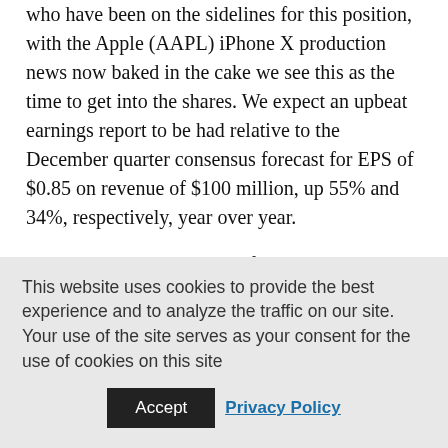who have been on the sidelines for this position, with the Apple (AAPL) iPhone X production news now baked in the cake we see this as the time to get into the shares. We expect an upbeat earnings report to be had relative to the December quarter consensus forecast for EPS of $0.85 on revenue of $100 million, up 55% and 34%, respectively, year over year.
Based on what we've heard from Applied as well as developments over organic light emitting diode TVs and other
This website uses cookies to provide the best experience and to analyze the traffic on our site. Your use of the site serves as your consent for the use of cookies on this site
Accept
Privacy Policy